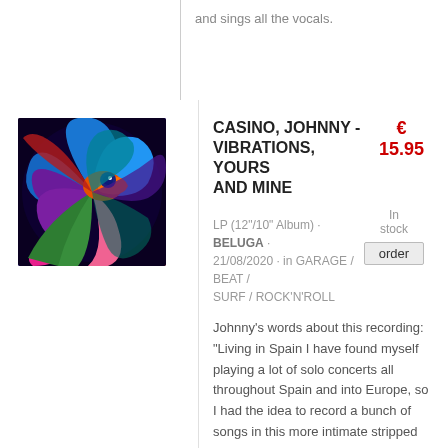and sings all the vocals.
[Figure (photo): Colorful swirling abstract bird artwork with blues, purples, pinks, greens and oranges on dark background — album cover for Casino, Johnny - Vibrations, Yours and Mine]
CASINO, JOHNNY - VIBRATIONS, YOURS AND MINE
€ 15.95
LP (12"/10" Album) · BELUGA · 21/08/2020 · in GARAGE / BEAT / SURF / ROCK'N'ROLL
In stock
order
Johnny's words about this recording: "Living in Spain I have found myself playing a lot of solo concerts all throughout Spain and into Europe, so I had the idea to record a bunch of songs in this more intimate stripped back way. I went into Estudio Tigruss in Els ... read more »